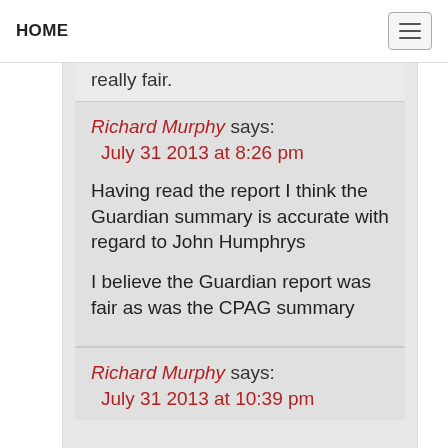HOME
really fair.
Richard Murphy says:
July 31 2013 at 8:26 pm

Having read the report I think the Guardian summary is accurate with regard to John Humphrys

I believe the Guardian report was fair as was the CPAG summary
Richard Murphy says:
July 31 2013 at 10:39 pm